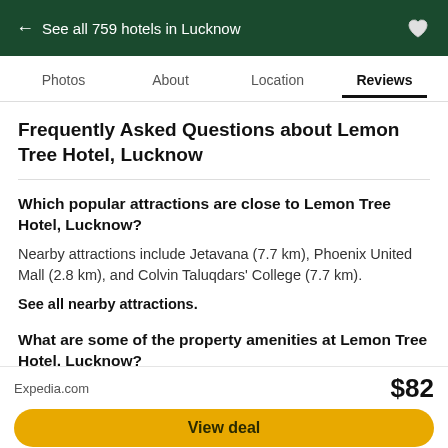← See all 759 hotels in Lucknow
Photos   About   Location   Reviews
Frequently Asked Questions about Lemon Tree Hotel, Lucknow
Which popular attractions are close to Lemon Tree Hotel, Lucknow?
Nearby attractions include Jetavana (7.7 km), Phoenix United Mall (2.8 km), and Colvin Taluqdars' College (7.7 km).
See all nearby attractions.
What are some of the property amenities at Lemon Tree Hotel, Lucknow?
Expedia.com   $82   View deal